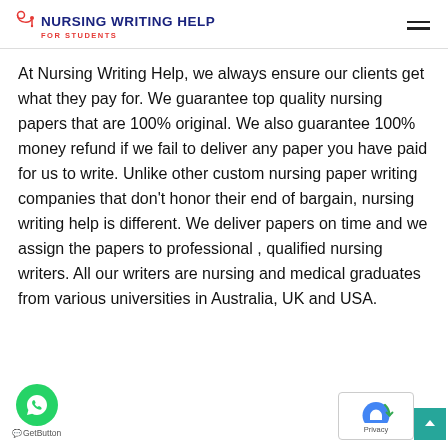NURSING WRITING HELP FOR STUDENTS
At Nursing Writing Help, we always ensure our clients get what they pay for. We guarantee top quality nursing papers that are 100% original. We also guarantee 100% money refund if we fail to deliver any paper you have paid for us to write. Unlike other custom nursing paper writing companies that don’t honor their end of bargain, nursing writing help is different. We deliver papers on time and we assign the papers to professional , qualified nursing writers. All our writers are nursing and medical graduates from various universities in Australia, UK and USA.
[Figure (logo): WhatsApp chat button (green circle with phone icon) and GetButton label]
[Figure (other): reCAPTCHA privacy badge and scroll-to-top teal button]